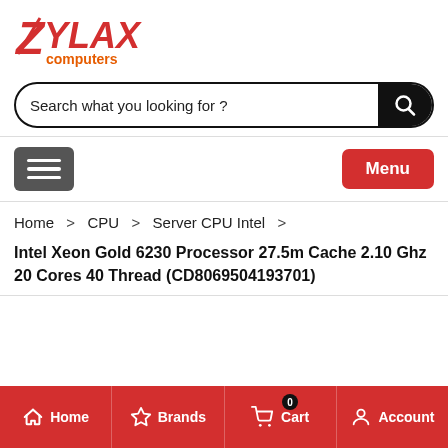[Figure (logo): Zylax Computers logo with red stylized text 'ZYLAX' and orange 'computers' below]
[Figure (screenshot): Search bar with placeholder 'Search what you looking for ?' and black search button]
[Figure (screenshot): Navigation bar with gray hamburger menu button on left and red 'Menu' button on right]
Home > CPU > Server CPU Intel > Intel Xeon Gold 6230 Processor 27.5m Cache 2.10 Ghz 20 Cores 40 Thread (CD8069504193701)
[Figure (screenshot): Bottom navigation bar with Home, Brands, Cart (badge 0), Account icons on red background]